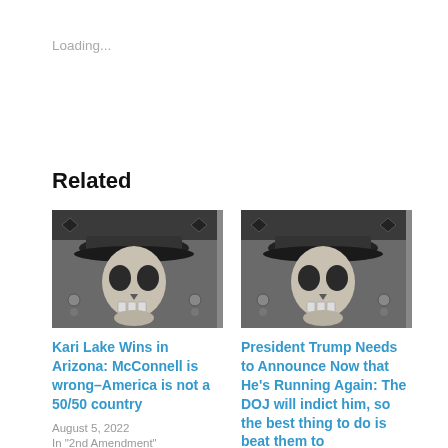Loading...
Related
[Figure (photo): Grayscale illustration of a skull wearing a hat with decorative elements]
Kari Lake Wins in Arizona: McConnell is wrong–America is not a 50/50 country
August 5, 2022
In "2nd Amendment"
[Figure (photo): Grayscale illustration of a skull wearing a hat with decorative elements]
President Trump Needs to Announce Now that He’s Running Again: The DOJ will indict him, so the best thing to do is beat them to